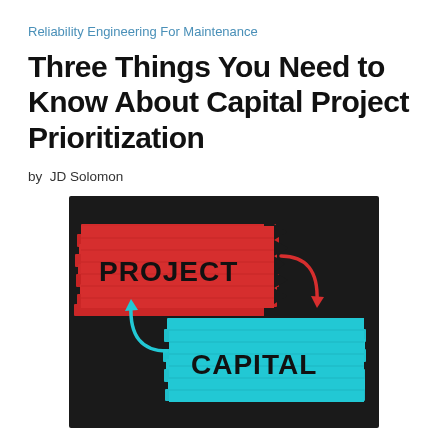Reliability Engineering For Maintenance
Three Things You Need to Know About Capital Project Prioritization
by JD Solomon
[Figure (illustration): Chalkboard-style illustration showing two horizontally stacked brush-stroke blocks: a red block labeled 'PROJECT' on top and a cyan/light-blue block labeled 'CAPITAL' below, with arrows indicating a bidirectional relationship between them, on a dark background.]